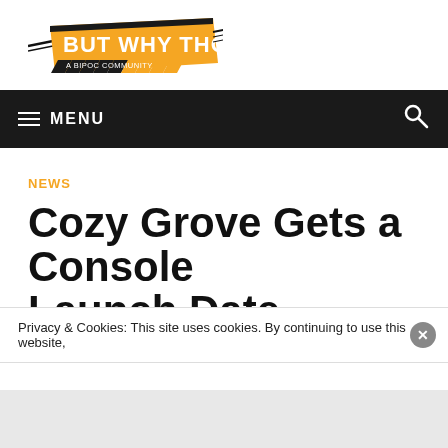[Figure (logo): But Why Tho? - A BIPOC Community logo with orange banner background and chevron arrows]
≡ MENU
NEWS
Cozy Grove Gets a Console Launch Date
Privacy & Cookies: This site uses cookies. By continuing to use this website,